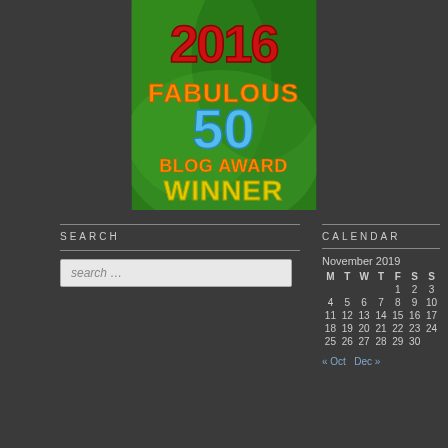[Figure (illustration): 2016 Fabulous 50 Blog Award Winner badge with green leaf background, red '2016' text, orange 'FABULOUS', light blue '50', orange 'BLOG AWARD', and gold 'WINNER' text]
SEARCH
search ...
CALENDAR
| M | T | W | T | F | S | S |
| --- | --- | --- | --- | --- | --- | --- |
|  |  |  |  | 1 | 2 | 3 |
| 4 | 5 | 6 | 7 | 8 | 9 | 10 |
| 11 | 12 | 13 | 14 | 15 | 16 | 17 |
| 18 | 19 | 20 | 21 | 22 | 23 | 24 |
| 25 | 26 | 27 | 28 | 29 | 30 |  |
« Oct   Dec »